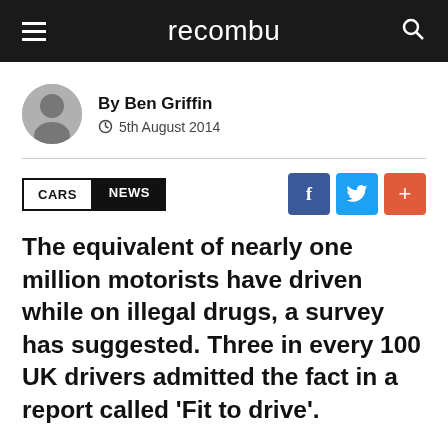recombu
By Ben Griffin
5th August 2014
CARS  NEWS
The equivalent of nearly one million motorists have driven while on illegal drugs, a survey has suggested. Three in every 100 UK drivers admitted the fact in a report called ‘Fit to drive’.